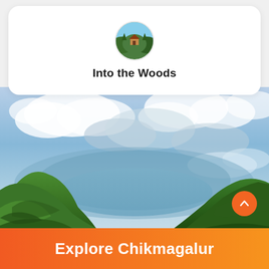[Figure (logo): Circular avatar/logo showing a wooden cabin in a green forest setting, representing 'Into the Woods' brand]
Into the Woods
[Figure (photo): Panoramic landscape photograph of Chikmagalur mountains with lush green hills, a deep valley, and dramatic cloudy blue sky]
Explore Chikmagalur